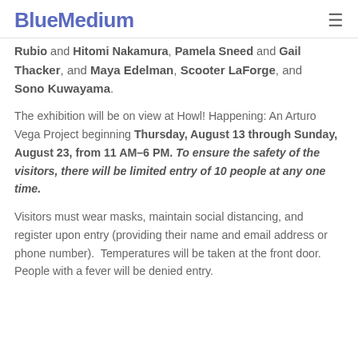BlueMedium
Rubio and Hitomi Nakamura, Pamela Sneed and Gail Thacker, and Maya Edelman, Scooter LaForge, and Sono Kuwayama.
The exhibition will be on view at Howl! Happening: An Arturo Vega Project beginning Thursday, August 13 through Sunday, August 23, from 11 AM–6 PM. To ensure the safety of the visitors, there will be limited entry of 10 people at any one time.
Visitors must wear masks, maintain social distancing, and register upon entry (providing their name and email address or phone number). Temperatures will be taken at the front door. People with a fever will be denied entry.